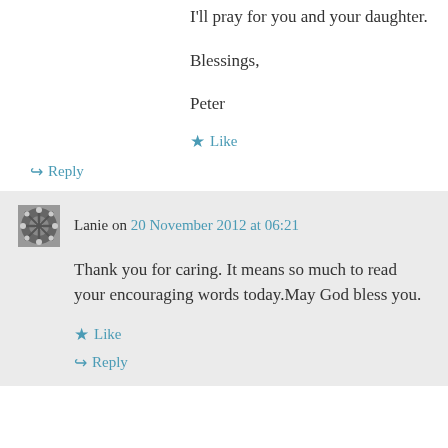I'll pray for you and your daughter.
Blessings,
Peter
★ Like
↪ Reply
Lanie on 20 November 2012 at 06:21
Thank you for caring. It means so much to read your encouraging words today.May God bless you.
★ Like
↪ Reply